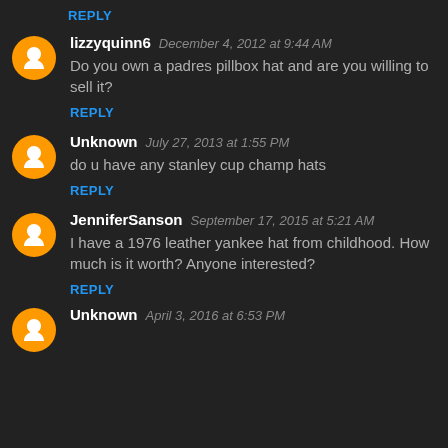REPLY
lizzyquinn6  December 4, 2012 at 9:44 AM
Do you own a padres pillbox hat and are you willing to sell it?
REPLY
Unknown  July 27, 2013 at 1:55 PM
do u have any stanley cup champ hats
REPLY
JenniferSanson  September 17, 2015 at 5:21 AM
I have a 1976 leather yankee hat from childhood. How much is it worth? Anyone interested?
REPLY
Unknown  April 3, 2016 at 6:53 PM